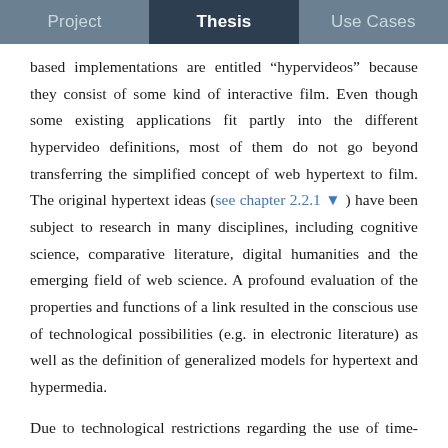Project   Thesis   Use Cases
based implementations are entitled “hypervideos” because they consist of some kind of interactive film. Even though some existing applications fit partly into the different hypervideo definitions, most of them do not go beyond transferring the simplified concept of web hypertext to film. The original hypertext ideas (see chapter 2.2.1 ▼ ) have been subject to research in many disciplines, including cognitive science, comparative literature, digital humanities and the emerging field of web science. A profound evaluation of the properties and functions of a link resulted in the conscious use of technological possibilities (e.g. in electronic literature) as well as the definition of generalized models for hypertext and hypermedia.
Due to technological restrictions regarding the use of time-based media on the web, respective hypervideo systems have been developed in other surroundings or as foreign objects (plug-ins) of the web. Now, that video and audio finally became a first class citizen of the prevailing hypertext system, it seems that current